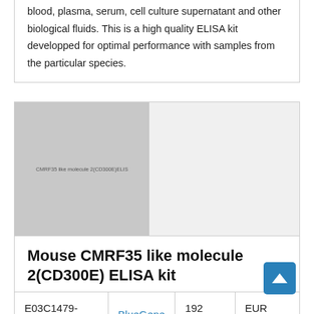blood, plasma, serum, cell culture supernatant and other biological fluids. This is a high quality ELISA kit developped for optimal performance with samples from the particular species.
[Figure (photo): Product image placeholder for Mouse CMRF35 like molecule 2(CD300E) ELISA kit with gray background and small text label]
Mouse CMRF35 like molecule 2(CD300E) ELISA kit
|  |  |  |  |
| --- | --- | --- | --- |
| E03C1479-192T | BlueGene | 192 tests | EUR 1270 |
Description: A competitive ELISA for quantitative measurement of Mouse CMRF35 like molecule 2(CD300E) in samples from blood, plasma, serum, cell culture supernatant and other biological fluids. This is a high quality ELISA kit developped for